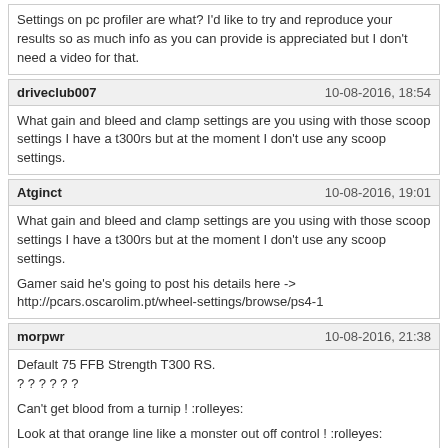Settings on pc profiler are what? I'd like to try and reproduce your results so as much info as you can provide is appreciated but I don't need a video for that.
driveclub007	10-08-2016, 18:54
What gain and bleed and clamp settings are you using with those scoop settings I have a t300rs but at the moment I don't use any scoop settings.
Atginct	10-08-2016, 19:01
What gain and bleed and clamp settings are you using with those scoop settings I have a t300rs but at the moment I don't use any scoop settings.

Gamer said he's going to post his details here -> http://pcars.oscarolim.pt/wheel-settings/browse/ps4-1
morpwr	10-08-2016, 21:38
Default 75 FFB Strength T300 RS.
? ? ? ? ? ?

Can't get blood from a turnip ! :rolleyes:

Look at that orange line like a monster out off control ! :rolleyes:

The orange line is the wheels natural response ! :rolleyes:

Observe that orange line of Normalized Wheel-Ouput ! ! ! ! ! ! !

You know what they say when you try to fight Mother Nature ! :rolleyes:

Guys with T300 running at high base FFB strength consider testing your wheel and running at a lower base FFB strength with Project Cars.